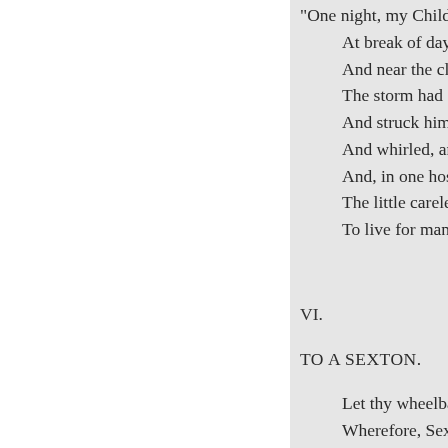“One night, my Children ! from ...
At break of day I ventured f...
And near the cliff I passed. ...
The storm had fallen upon t...
And struck him with a migh...
And whirled, and whirled h...
And, in one hospitable cleft...
The little careless Broom w...
To live for many a day.”
VI.
TO A SEXTON.
Let thy wheelbarrow alone
Wherefore, Sexton, piling s...
In thy bone-house bone on b...
‘T is already like a hill
In a field of battle made,
Where three thousand skull...
These died in peace each wi...